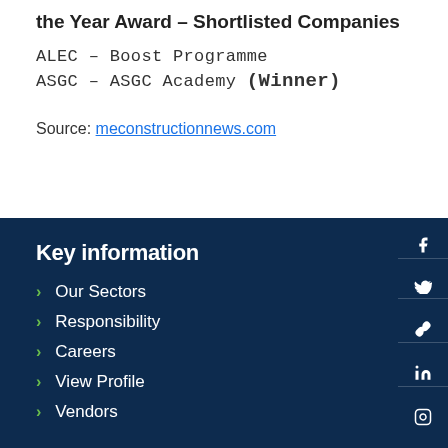the Year Award – Shortlisted Companies
ALEC – Boost Programme
ASGC – ASGC Academy (Winner)
Source: meconstructionnews.com
Key information
Our Sectors
Responsibility
Careers
View Profile
Vendors